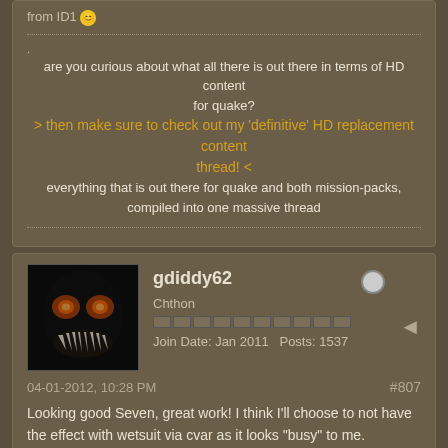from ID1
are you curious about what all there is out there in terms of HD content for quake?
> then make sure to check out my 'definitive' HD replacement content thread! <
everything that is out there for quake and both mission-packs, compiled into one massive thread
gdiddy62
Chthon
Join Date: Jan 2011   Posts: 1537
04-01-2012, 10:28 PM
#807
Looking good Seven, great work! I think I'll choose to not have the effect with wetsuit via cvar as it looks "busy" to me. Perhaps if the "rain" particles were smaller? So many ideas you have!! I LOVE all else as you are outdoing yourself! Hope to have this soon.